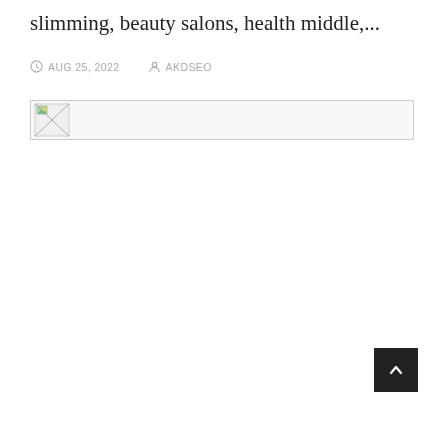slimming, beauty salons, health middle,...
AUG 25, 2022  AKDSEO
[Figure (photo): Broken/missing image placeholder with small thumbnail icon and gray border]
[Figure (other): Dark scroll-to-top button with upward chevron arrow]